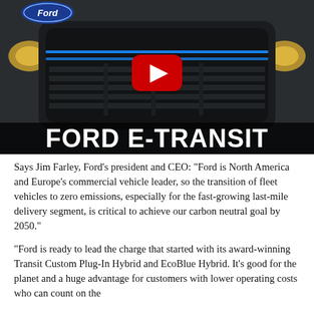[Figure (screenshot): YouTube thumbnail showing front grille of a dark grey Ford E-Transit van with blue accent lighting. The Ford blue oval logo is visible top-left. A red YouTube play button is centered on the image. White bold text at the bottom reads 'FORD E-TRANSIT'.]
Says Jim Farley, Ford's president and CEO: “Ford is North America and Europe’s commercial vehicle leader, so the transition of fleet vehicles to zero emissions, especially for the fast-growing last-mile delivery segment, is critical to achieve our carbon neutral goal by 2050.”
“Ford is ready to lead the charge that started with its award-winning Transit Custom Plug-In Hybrid and EcoBlue Hybrid. It’s good for the planet and a huge advantage for customers with lower operating costs who can count on the